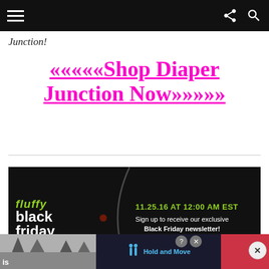Navigation bar with menu, share, and search icons
Junction!
«««««Shop Diaper Junction Now»»»»»
[Figure (illustration): Fluffy Black Friday promotional banner: dark background with 'fluffy black friday' text on left side and '11.25.16 AT 12:00 AM EST - Sign up to receive our exclusive Black Friday newsletter!' on right side]
[Figure (screenshot): Bottom advertisement banner showing an outdoor scene image on left, 'Hold and Move' text with icon in center on dark blue background, and a pink/red section on right. Has close (X) and info (?) buttons.]